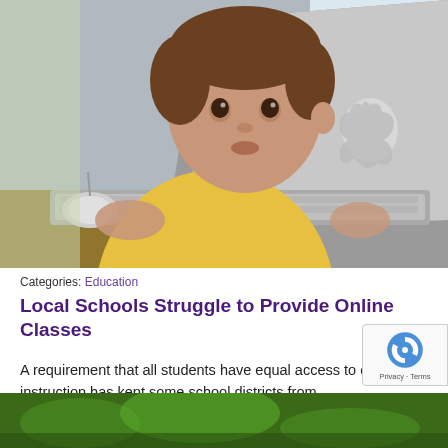[Figure (photo): Young boy in yellow shirt looking at an Apple MacBook laptop, using a mouse, seated at a table.]
Categories: Education
Local Schools Struggle to Provide Online Classes
A requirement that all students have equal access to online instruction has kept some school districts from implementing cyber lessons.
[Figure (photo): Partial bottom image showing green outdoor scene.]